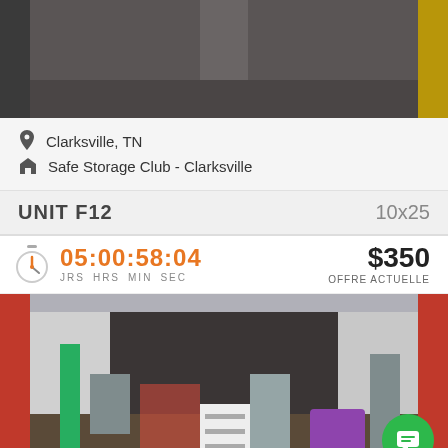[Figure (photo): Top portion of a storage unit or hallway photo, dark interior]
Clarksville, TN
Safe Storage Club - Clarksville
UNIT F12   10x25
05:00:58:04  JRS  HRS  MIN  SEC  $350  OFFRE ACTUELLE
[Figure (photo): Storage unit interior filled with miscellaneous items including clothes, luggage, tools, and household goods]